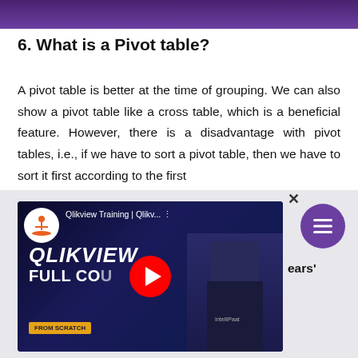[Figure (illustration): Dark purple banner at top of page]
6. What is a Pivot table?
A pivot table is better at the time of grouping. We can also show a pivot table like a cross table, which is a beneficial feature. However, there is a disadvantage with pivot tables, i.e., if we have to sort a pivot table, then we have to sort it first according to the first
[Figure (screenshot): Video thumbnail overlay for Qlikview Training | Qlikv... - QLIKVIEW FULL COURSE FROM SCRATCH, with play button and YouTube-style interface. A close (x) button is visible at top right of overlay, and a purple hamburger menu button on the right side. Partial text 'ears'' visible at right.]